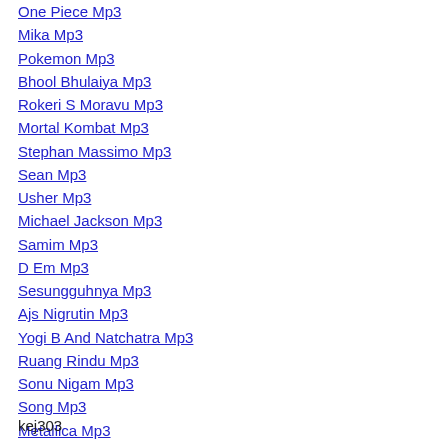One Piece Mp3
Mika Mp3
Pokemon Mp3
Bhool Bhulaiya Mp3
Rokeri S Moravu Mp3
Mortal Kombat Mp3
Stephan Massimo Mp3
Sean Mp3
Usher Mp3
Michael Jackson Mp3
Samim Mp3
D Em Mp3
Sesungguhnya Mp3
Ajs Nigrutin Mp3
Yogi B And Natchatra Mp3
Ruang Rindu Mp3
Sonu Nigam Mp3
Song Mp3
Metallica Mp3
Naruto Mp3
Siti Nurhaliza Mp3
50 Cent Mp3
Boban Rajovic Mp3
kej303